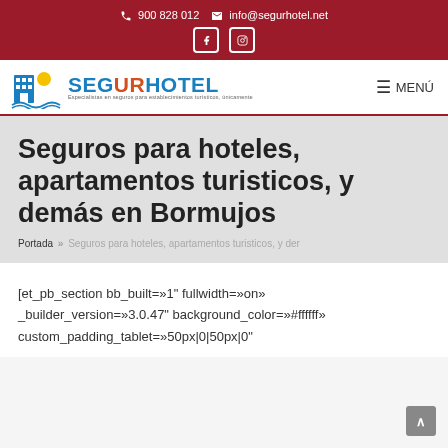900 828 012  info@segurhotel.net
[Figure (logo): Segurhotel logo with building icon and text: SEGURHOTEL, Especialistas en seguros para establecimientos turísticos, únicamente]
Seguros para hoteles, apartamentos turisticos, y demás en Bormujos
Portada » Seguros para hoteles, apartamentos turisticos, y der
[et_pb_section bb_built=»1" fullwidth=»on» _builder_version=»3.0.47" background_color=»#ffffff» custom_padding_tablet=»50px|0|50px|0"